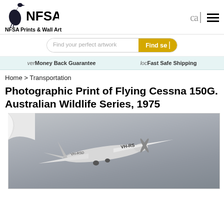NFSA Prints & Wall Art
Find your perfect artwork
Money Back Guarantee | Fast Safe Shipping
Home > Transportation
Photographic Print of Flying Cessna 150G. Australian Wildlife Series, 1975
[Figure (photo): Black and white photograph of a Cessna 150G small aircraft in flight, viewed from slightly below and behind, showing the registration markings on fuselage and wing. The background is a grey sky.]